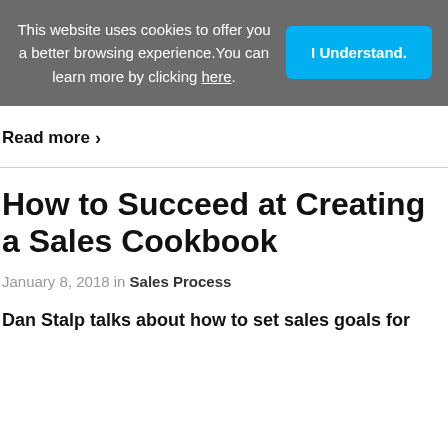This website uses cookies to offer you a better browsing experience. You can learn more by clicking here.
I Understand.
Read more ›
How to Succeed at Creating a Sales Cookbook
January 8, 2018 in Sales Process
Dan Stalp talks about how to set sales goals for